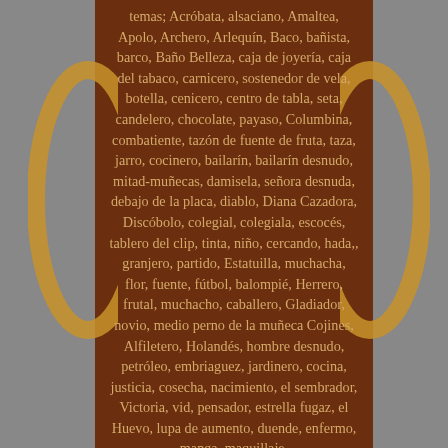temas; Acróbata, alsaciano, Amaltea, Apolo, Archero, Arlequín, Baco, bañista, barco, Baño Belleza, caja de joyería, caja del tabaco, carnicero, sostenedor de vela, botella, cenicero, centro de tabla, seta, candelero, chocolate, payaso, Columbina, combatiente, tazón de fuente de fruta, taza, jarro, cocinero, bailarín, bailarín desnudo, mitad-muñecas, damisela, señora desnuda, debajo de la placa, diablo, Diana Cazadora, Discóbolo, colegial, colegiala, escocés, tablero del clip, tinta, niño, cercando, hada,, granjero, partido, Estatuilla, muchacha, flor, fuente, fútbol, balompié, Herrero, frutal, muchacho, caballero, Gladiador, novio, medio perno de la muñeca Cojines, Alfiletero, Holandés, hombre desnudo, petróleo, embriaguez, jardinero, cocina, justicia, cosecha, nacimiento, el sembrador, Victoria, vid, pensador, estrella fugaz, el Huevo, lupa de aumento, duende, enfermo, manga, maquillaje.
Los animales también están en el centro de nuestra investigación; Águila, Garceta, animal y animales de caza, animales de granja, animales domésticos